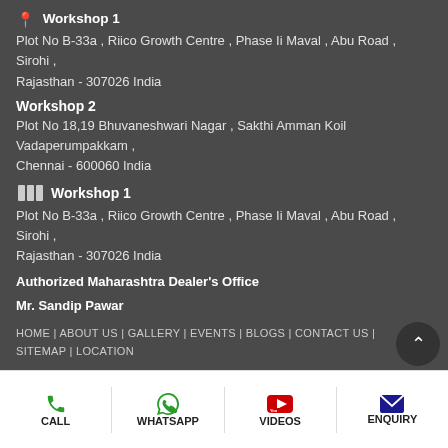Workshop 1 (icon) - Plot No B-33a , Riico Growth Centre , Phase Ii Maval , Abu Road , Sirohi , Rajasthan - 307026 India
Workshop 2
Plot No 18,19 Bhuvaneshwari Nagar , Sakthi Amman Koil Vadaperumpakkam , Chennai - 600060 India
Workshop 1 (icon)
Plot No B-33a , Riico Growth Centre , Phase Ii Maval , Abu Road , Sirohi , Rajasthan - 307026 India
Authorized Maharashtra Dealer's Office
Mr. Sandip Pawar
Om Swami Wires Engineering: Opp. Indian Oil Petrol Pump, Satana Road, Dabhadi, Malegaon, Maharashtra-423201, India
HOME | ABOUT US | GALLERY | EVENTS | BLOGS | CONTACT US | SITEMAP | LOCATION
CALL | WHATSAPP | VIDEOS | ENQUIRY